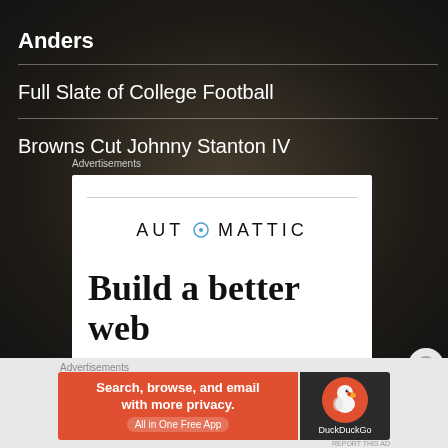Anders
Full Slate of College Football
Browns Cut Johnny Stanton IV
Advertisements
[Figure (screenshot): Automattic advertisement panel with 'Build a better web' text]
Advertisements
[Figure (screenshot): DuckDuckGo advertisement: Search, browse, and email with more privacy. All in One Free App]
REPORT THIS AD